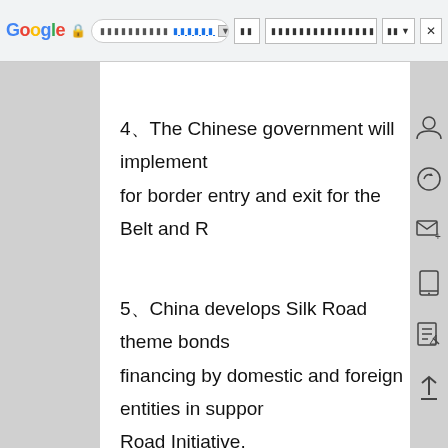Google browser chrome bar
4、The Chinese government will implement atic for border entry and exit for the Belt and R
5、China develops Silk Road theme bonds lita financing by domestic and foreign entities in suppor Road Initiative.